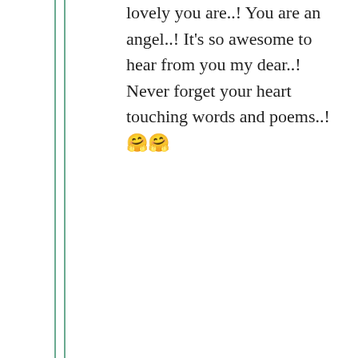lovely you are..! You are an angel..! It’s so awesome to hear from you my dear..! Never forget your heart touching words and poems..!🥰🥰
★ Liked by 1 person
Advertisements
[Figure (screenshot): Advertisement banner with text 'Professionally']
Privacy & Cookies: This site uses cookies. By continuing to use this website, you agree to their use. To find out more, including how to control cookies, see here: Cookie Policy
Close and accept